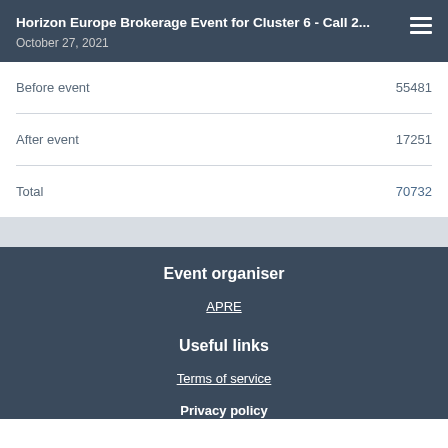Horizon Europe Brokerage Event for Cluster 6 - Call 2... | October 27, 2021
|  |  |
| --- | --- |
| Before event | 55481 |
| After event | 17251 |
| Total | 70732 |
Event organiser
APRE
Useful links
Terms of service
Privacy policy